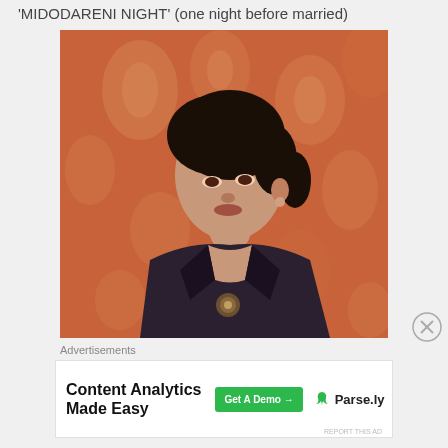'MIDODARENI NIGHT' (one night before married)
[Figure (photo): Vintage photograph of a young woman in a dark blazer with a brooch, posed in front of an orange floral patterned background/curtain. The photo has a warm orange-red tone typical of older photography.]
Advertisements
[Figure (screenshot): Advertisement banner: 'Content Analytics Made Easy' with a green 'Get A Demo →' button and Parse.ly logo]